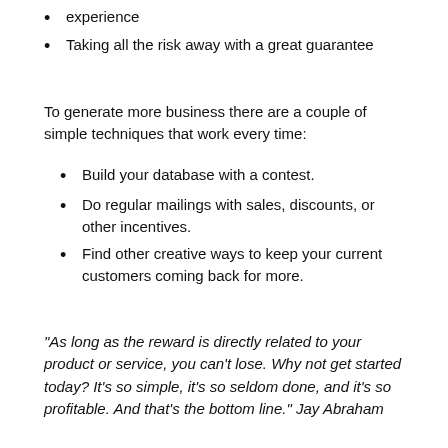experience
Taking all the risk away with a great guarantee
To generate more business there are a couple of simple techniques that work every time:
Build your database with a contest.
Do regular mailings with sales, discounts, or other incentives.
Find other creative ways to keep your current customers coming back for more.
"As long as the reward is directly related to your product or service, you can’t lose. Why not get started today? It’s so simple, it’s so seldom done, and it’s so profitable. And that’s the bottom line." Jay Abraham